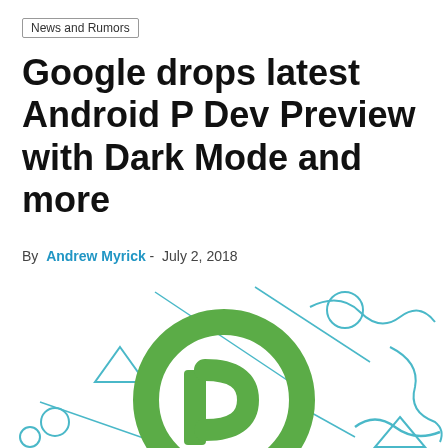News and Rumors
Google drops latest Android P Dev Preview with Dark Mode and more
By Andrew Myrick - July 2, 2018
[Figure (illustration): Android P logo (green letter P inside a green circle) with decorative cyan geometric shapes including triangles, lines, circles, and squiggles on a white background]